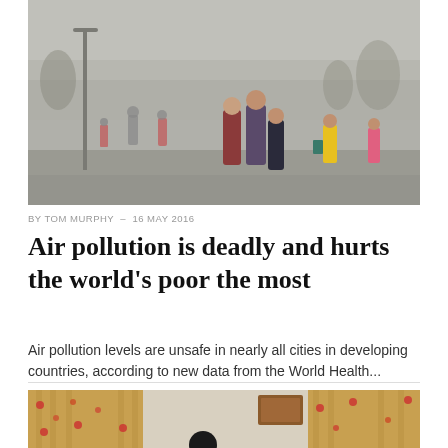[Figure (photo): People walking in heavy smog/air pollution outdoors. Children and adults visible in a hazy grey environment with street lamps and trees barely visible through the smog.]
BY TOM MURPHY — 16 MAY 2016
Air pollution is deadly and hurts the world’s poor the most
Air pollution levels are unsafe in nearly all cities in developing countries, according to new data from the World Health...
[Figure (photo): Partial view of what appears to be an indoor scene with decorative curtains with red/orange floral pattern.]